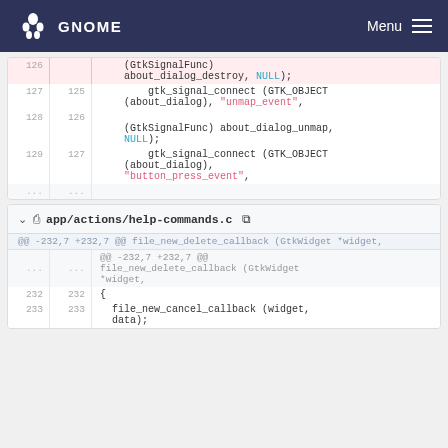GNOME   Menu
Code diff showing gtk_signal_connect calls in a C source file. Lines 127-129 (new) / 125-127 (old) showing signal connections for unmap_event and button_press_event. Deleted lines show (GtkSignalFunc) about_dialog_destroy, NULL); and about_dialog_unmap, NULL);
app/actions/help-commands.c
@@ -232,7 +232,7 @@ file_new_delete_callback (GtkWidget *widget,
232 232 {
233 233   file_new_cancel_callback (widget, data);